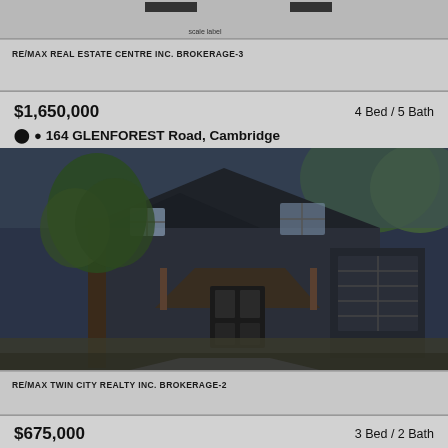[Figure (other): Top partial strip showing a bar chart or listing element cropped at top of page]
RE/MAX REAL ESTATE CENTRE INC. BROKERAGE-3
$1,650,000    4 Bed / 5 Bath
164 GLENFOREST Road, Cambridge
[Figure (photo): Exterior photo of a dark two-storey house with a covered front porch, large tree on left, garage on right, modern design]
RE/MAX TWIN CITY REALTY INC. BROKERAGE-2
$675,000    3 Bed / 2 Bath